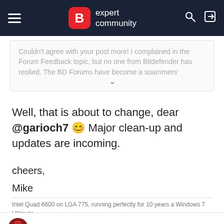B expert community
Couldn't agree with your post more! I complained in the Forum Feedback topic, but no one from Bitdefender has replied. The BD Forums have become a spammers' paradise
Well, that is about to change, dear @garioch7 😊 Major clean-up and updates are incoming.

cheers,

Mike
Intel Quad 6600 on LGA 775, running perfectly for 10 years a Windows 7 Ultimate
EvilPeppard ★★